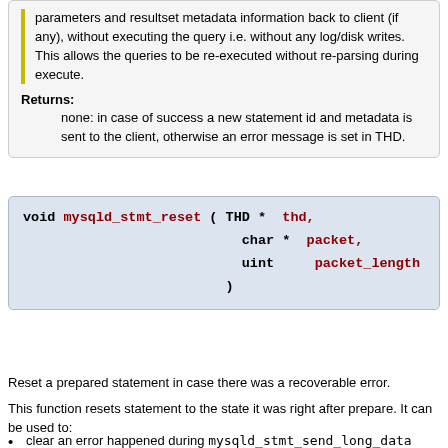parameters and resultset metadata information back to client (if any), without executing the query i.e. without any log/disk writes. This allows the queries to be re-executed without re-parsing during execute.
Returns:
none: in case of success a new statement id and metadata is sent to the client, otherwise an error message is set in THD.
void mysqld_stmt_reset ( THD * thd, char * packet, uint packet_length )
Reset a prepared statement in case there was a recoverable error.
This function resets statement to the state it was right after prepare. It can be used to:
clear an error happened during mysqld_stmt_send_long_data
cancel long data stream for all placeholders without having to call mysqld_stmt_execute.
close an open cursor Sends 'OK' packet in case of success (statement was reset) or 'ERROR' packet (unrecoverable error/statement not found/etc).